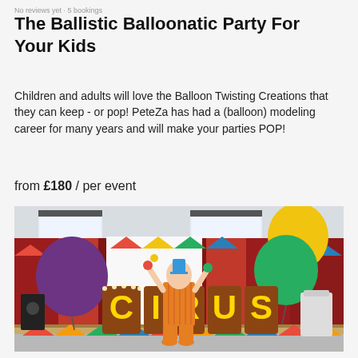No reviews yet · 5 bookings
The Ballistic Balloonatic Party For Your Kids
Children and adults will love the Balloon Twisting Creations that they can keep - or pop! PeteZa has had a (balloon) modeling career for many years and will make your parties POP!
from £180 / per event
[Figure (photo): A performer dressed as a clown in orange checkered costume juggling in front of illuminated CIRCUS letters, with colorful balloons and bunting decorations in a party venue.]